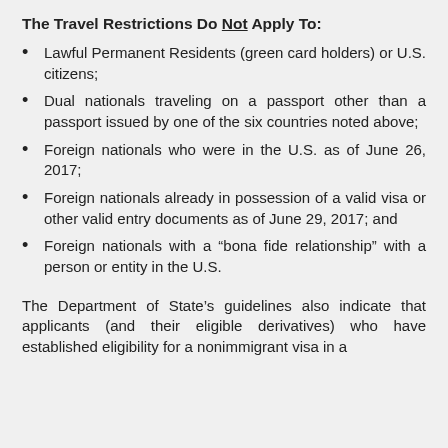The Travel Restrictions Do Not Apply To:
Lawful Permanent Residents (green card holders) or U.S. citizens;
Dual nationals traveling on a passport other than a passport issued by one of the six countries noted above;
Foreign nationals who were in the U.S. as of June 26, 2017;
Foreign nationals already in possession of a valid visa or other valid entry documents as of June 29, 2017; and
Foreign nationals with a “bona fide relationship” with a person or entity in the U.S.
The Department of State’s guidelines also indicate that applicants (and their eligible derivatives) who have established eligibility for a nonimmigrant visa in a